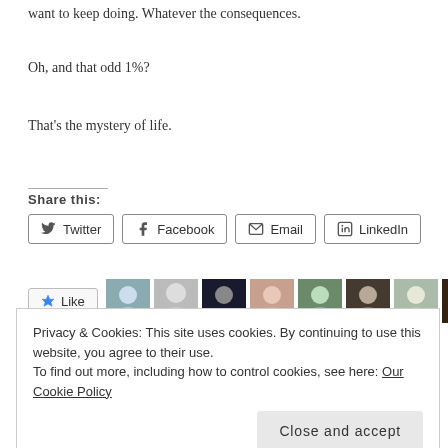want to keep doing. Whatever the consequences.
Oh, and that odd 1%?
That's the mystery of life.
Share this:
[Figure (screenshot): Social share buttons: Twitter, Facebook, Email, LinkedIn]
[Figure (screenshot): Like button and user avatar thumbnails row]
Privacy & Cookies: This site uses cookies. By continuing to use this website, you agree to their use. To find out more, including how to control cookies, see here: Our Cookie Policy
Close and accept